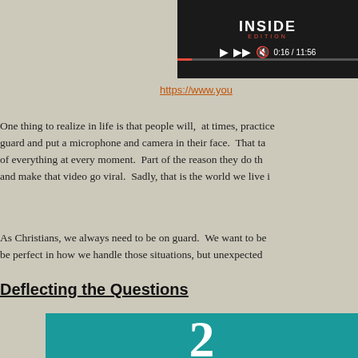[Figure (screenshot): Inside Edition video thumbnail with play controls showing 0:16 / 11:56]
https://www.you...
One thing to realize in life is that people will, at times, practice guard and put a microphone and camera in their face. That ta of everything at every moment. Part of the reason they do th and make that video go viral. Sadly, that is the world we live i
As Christians, we always need to be on guard. We want to be be perfect in how we handle those situations, but unexpected
Deflecting the Questions
[Figure (illustration): Teal/green background with large white question mark numeral 2]